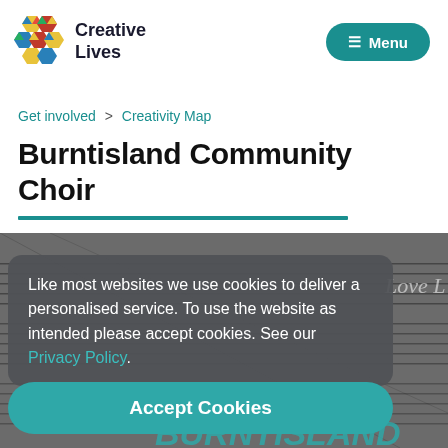Creative Lives | Menu
Get involved > Creativity Map
Burntisland Community Choir
Like most websites we use cookies to deliver a personalised service. To use the website as intended please accept cookies. See our Privacy Policy.
Accept Cookies